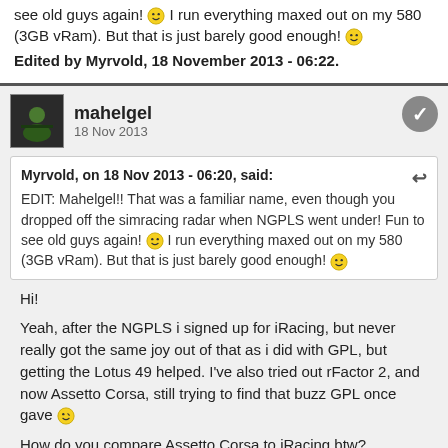see old guys again! :) I run everything maxed out on my 580 (3GB vRam). But that is just barely good enough! :)
Edited by Myrvold, 18 November 2013 - 06:22.
mahelgel
18 Nov 2013
Myrvold, on 18 Nov 2013 - 06:20, said:
EDIT: Mahelgel!! That was a familiar name, even though you dropped off the simracing radar when NGPLS went under! Fun to see old guys again! :) I run everything maxed out on my 580 (3GB vRam). But that is just barely good enough! :)
Hi!
Yeah, after the NGPLS i signed up for iRacing, but never really got the same joy out of that as i did with GPL, but getting the Lotus 49 helped. I've also tried out rFactor 2, and now Assetto Corsa, still trying to find that buzz GPL once gave :)
How do you compare Assetto Corsa to iRacing btw?